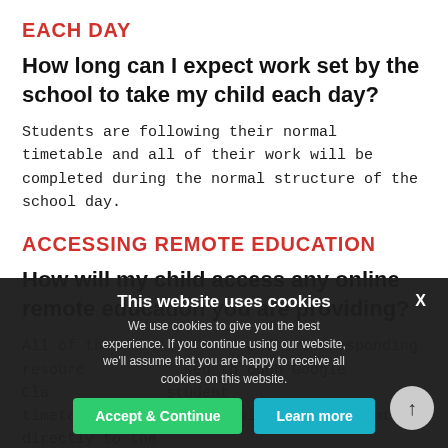EACH DAY
How long can I expect work set by the school to take my child each day?
Students are following their normal timetable and all of their work will be completed during the normal structure of the school day.
ACCESSING REMOTE EDUCATION
How will my child access any online remote education you are providing?
All of th... and corresponding resourc... sed through Google Cla... student timetables in FROG that will take students directly to the Goog... ea...
[Cookie banner] This website uses cookies. We use cookies to give you the best experience. If you continue using our website, we'll assume that you are happy to receive all cookies on this website. [Accept & Continue] [Learn more]